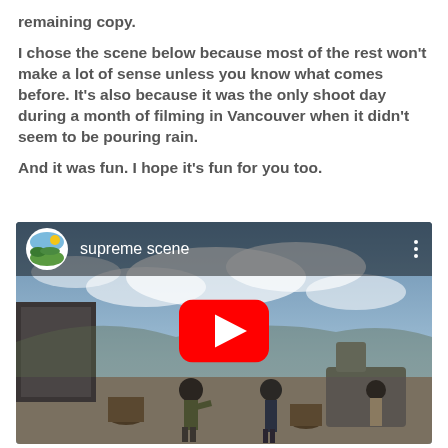remaining copy.
I chose the scene below because most of the rest won't make a lot of sense unless you know what comes before. It's also because it was the only shoot day during a month of filming in Vancouver when it didn't seem to be pouring rain.
And it was fun. I hope it's fun for you too.
[Figure (screenshot): YouTube video embed showing 'supreme scene' with a channel logo (circular, white background with landscape illustration), three-dot menu icon, and a large red YouTube play button overlay. The video thumbnail shows a film scene with people on a rooftop or dock with a cloudy sky background.]